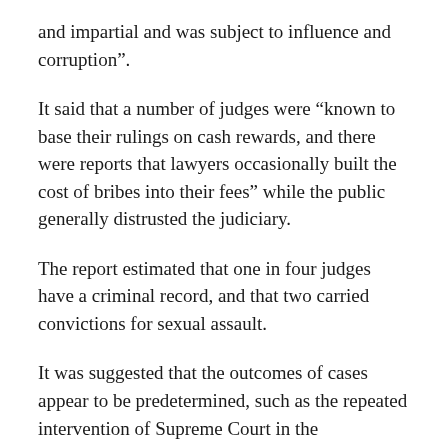and impartial and was subject to influence and corruption”.
It said that a number of judges were “known to base their rulings on cash rewards, and there were reports that lawyers occasionally built the cost of bribes into their fees” while the public generally distrusted the judiciary.
The report estimated that one in four judges have a criminal record, and that two carried convictions for sexual assault.
It was suggested that the outcomes of cases appear to be predetermined, such as the repeated intervention of Supreme Court in the presidential elections where the court directly accepted cases without allowing lower courts to hear them first.